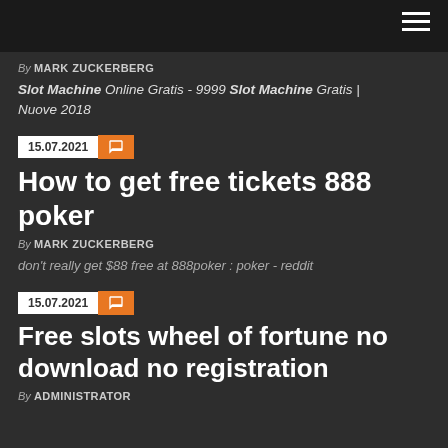By MARK ZUCKERBERG
Slot Machine Online Gratis - 9999 Slot Machine Gratis | Nuove 2018
15.07.2021
How to get free tickets 888 poker
By MARK ZUCKERBERG
don't really get $88 free at 888poker : poker - reddit
15.07.2021
Free slots wheel of fortune no download no registration
By ADMINISTRATOR